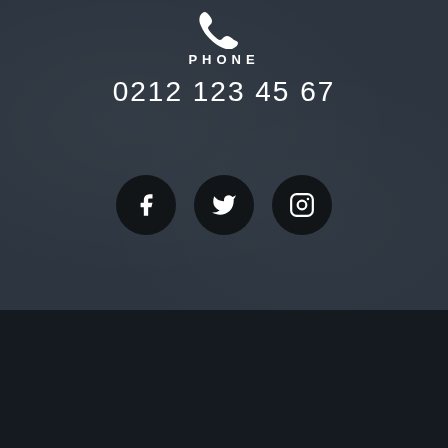[Figure (illustration): White phone/call icon at top center on dark textured background]
PHONE
0212 123 45 67
[Figure (illustration): Three social media icon circles (Facebook, Twitter, Instagram) on dark background]
Copyright © 2021 – e-readers.co.uk
[Figure (illustration): Four payment method icons: American Express, PayPal, MasterCard, Visa]